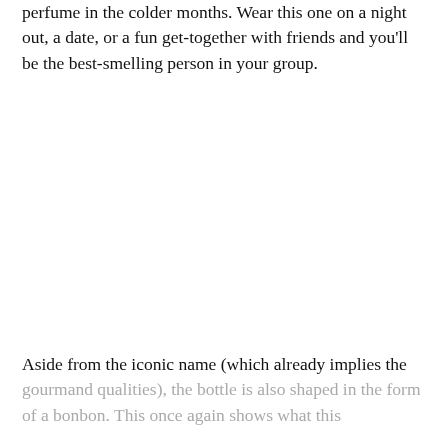perfume in the colder months. Wear this one on a night out, a date, or a fun get-together with friends and you'll be the best-smelling person in your group.
Aside from the iconic name (which already implies the gourmand qualities), the bottle is also shaped in the form of a bonbon. This once again shows what this